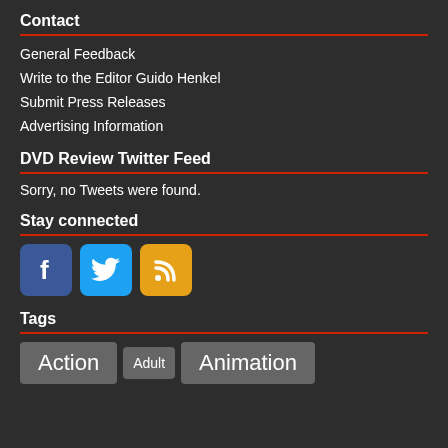Contact
General Feedback
Write to the Editor Guido Henkel
Submit Press Releases
Advertising Information
DVD Review Twitter Feed
Sorry, no Tweets were found.
Stay connected
[Figure (infographic): Three social media icons: Facebook (blue), Twitter (light blue), RSS (orange)]
Tags
Action   Adult   Animation